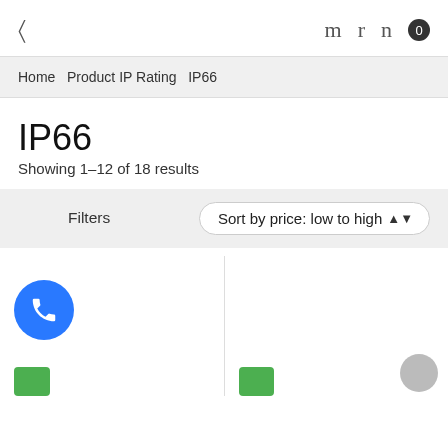[ m r n 0
Home  Product IP Rating  IP66
IP66
Showing 1–12 of 18 results
Filters  Sort by price: low to high
[Figure (other): Blue circle phone/call button icon and partial product listing with green Add to Cart buttons]